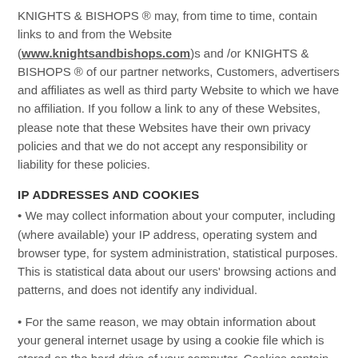KNIGHTS & BISHOPS ® may, from time to time, contain links to and from the Website (www.knightsandbishops.com)s and /or KNIGHTS & BISHOPS ® of our partner networks, Customers, advertisers and affiliates as well as third party Website to which we have no affiliation. If you follow a link to any of these Websites, please note that these Websites have their own privacy policies and that we do not accept any responsibility or liability for these policies.
IP ADDRESSES AND COOKIES
• We may collect information about your computer, including (where available) your IP address, operating system and browser type, for system administration, statistical purposes. This is statistical data about our users' browsing actions and patterns, and does not identify any individual.
• For the same reason, we may obtain information about your general internet usage by using a cookie file which is stored on the hard drive of your computer. Cookies contain information that is transferred to your computer's hard drive. On revisiting the Website